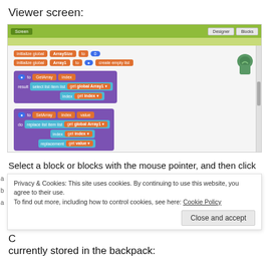Viewer screen:
[Figure (screenshot): App Inventor Blocks editor screenshot showing initialize global ArraySize to 0, initialize global Array1 to create empty list, GetArray and SetArray procedure blocks with list operations]
Select a block or blocks with the mouse pointer, and then click
Privacy & Cookies: This site uses cookies. By continuing to use this website, you agree to their use.
To find out more, including how to control cookies, see here: Cookie Policy
Close and accept
currently stored in the backpack: